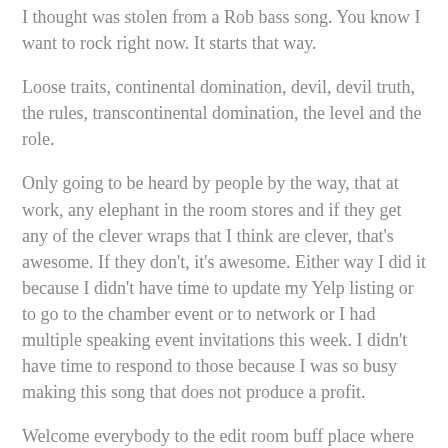I thought was stolen from a Rob bass song. You know I want to rock right now. It starts that way.
Loose traits, continental domination, devil, devil truth, the rules, transcontinental domination, the level and the role.
Only going to be heard by people by the way, that at work, any elephant in the room stores and if they get any of the clever wraps that I think are clever, that's awesome. If they don't, it's awesome. Either way I did it because I didn't have time to update my Yelp listing or to go to the chamber event or to network or I had multiple speaking event invitations this week. I didn't have time to respond to those because I was so busy making this song that does not produce a profit.
Welcome everybody to the edit room buff place where you could do and when the side of the boom back Coby Winnie used to throw that poops to Shaquille pass Nam. Don't because our team has gotten seals. Yes sir. We got Cod chopping with